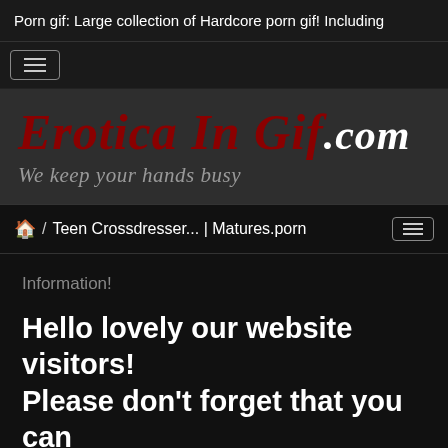Porn gif: Large collection of Hardcore porn gif! Including
[Figure (screenshot): Hamburger menu button icon]
[Figure (logo): Erotica In Gif .com logo with tagline 'We keep your hands busy']
🏠 / Teen Crossdresser... | Matures.porn
Information!
Hello lovely our website visitors! Please don't forget that you can